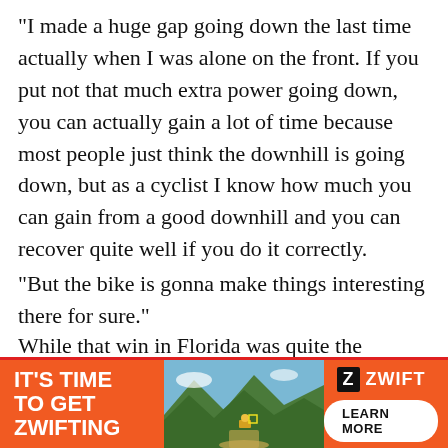“I made a huge gap going down the last time actually when I was alone on the front. If you put not that much extra power going down, you can actually gain a lot of time because most people just think the downhill is going down, but as a cyclist I know how much you can gain from a good downhill and you can recover quite well if you do it correctly.
“But the bike is gonna make things interesting there for sure.”
While that win in Florida was quite the Ironman debut for Gustav, he is quick to point out it was just one race, and he is still very short on experience over the full distance.
“I think for me the biggest difference is that I have such [text cut off by ad]
[Figure (other): Zwift advertisement banner. Orange background with text 'IT'S TIME TO GET ZWIFTING' on the left, a cycling landscape photo in the middle, and the Zwift logo with 'LEARN MORE' button on the right.]